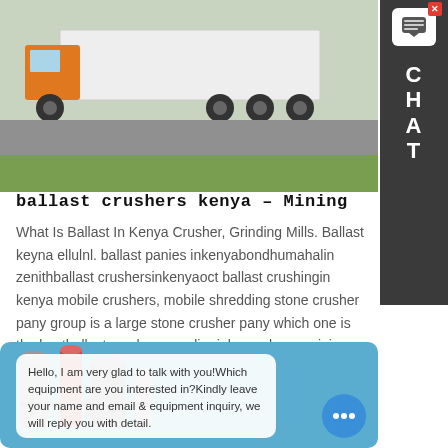[Figure (photo): Orange and white truck/transport vehicle on road with green grass in background]
ballast crushers kenya – Mining
What Is Ballast In Kenya Crusher, Grinding Mills. Ballast keyna ellulnl. ballast panies inkenyabondhumahalin zenithballast crushersinkenyaoct ballast crushingin kenya mobile crushers, mobile shredding stone crusher pany group is a large stone crusher pany which one is the bestballast crusherssupplier inkenya kenyamining equipment and quarry plant stone crusher recent
Learn More
[Figure (photo): Industrial equipment with tanks/silos against blue sky]
Hello, I am very glad to talk with you!Which equipment are you interested in?Kindly leave your name and email & equipment inquiry, we will reply you with detail.